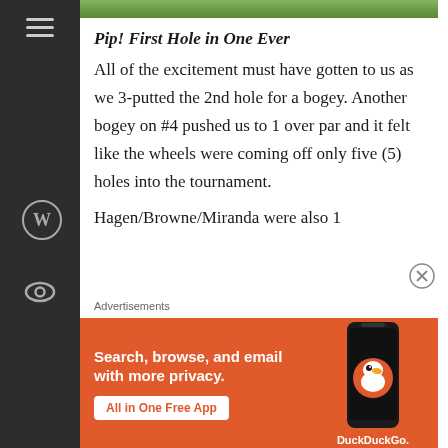[Figure (photo): Green grass photo at top of article]
Pip! First Hole in One Ever
All of the excitement must have gotten to us as we 3-putted the 2nd hole for a bogey. Another bogey on #4 pushed us to 1 over par and it felt like the wheels were coming off only five (5) holes into the tournament.
Hagen/Browne/Miranda were also 1
Advertisements
[Figure (screenshot): DuckDuckGo advertisement banner: Search, browse, and email with more privacy. All in One Free App.]